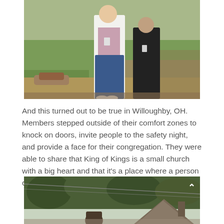[Figure (photo): Two people standing outdoors on a sunny day in a park or yard setting with green grass and trees in the background. One person is wearing a white jacket and jeans, the other is wearing a black outfit.]
And this turned out to be true in Willoughby, OH.  Members stepped outside of their comfort zones to knock on doors, invite people to the safety night, and provide a face for their congregation. They were able to share that King of Kings is a small church with a big heart and that it's a place where a person can feel like they belong.
[Figure (photo): Outdoor photo showing tall trees and the roofline of a building or church beneath them.]